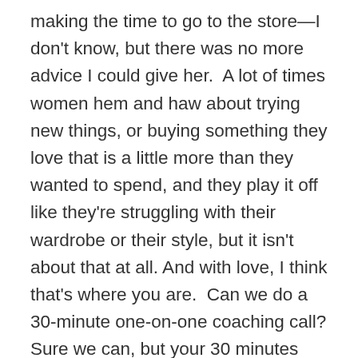making the time to go to the store—I don't know, but there was no more advice I could give her.  A lot of times women hem and haw about trying new things, or buying something they love that is a little more than they wanted to spend, and they play it off like they're struggling with their wardrobe or their style, but it isn't about that at all. And with love, I think that's where you are.  Can we do a 30-minute one-on-one coaching call? Sure we can, but your 30 minutes would be better spent in a fitting room putting non-skinny jeans on your body and asking, do I like this?  Or asking yourself, what is my hangup about a different silhouette of jeans?  Or watching Netflix because you've decided you just like skinnies and all other jeans can take a hike. You don't have to wear things you don't like if you're happy with your current situation, and once you're ready to move on, you will.